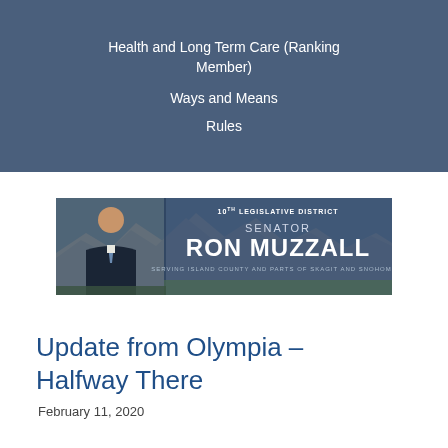Health and Long Term Care (Ranking Member)
Ways and Means
Rules
[Figure (illustration): Banner image for Senator Ron Muzzall, 10th Legislative District, serving Island County and parts of Skagit and Snohomish. Shows a man in a suit against a mountain backdrop with the text SENATOR RON MUZZALL.]
Update from Olympia – Halfway There
February 11, 2020